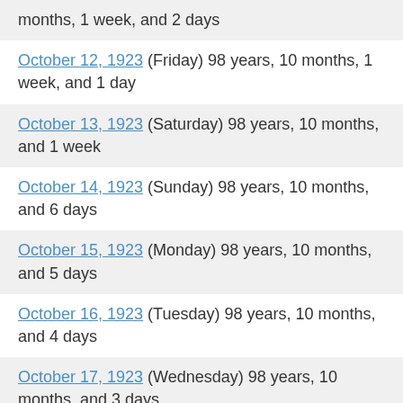months, 1 week, and 2 days
October 12, 1923 (Friday) 98 years, 10 months, 1 week, and 1 day
October 13, 1923 (Saturday) 98 years, 10 months, and 1 week
October 14, 1923 (Sunday) 98 years, 10 months, and 6 days
October 15, 1923 (Monday) 98 years, 10 months, and 5 days
October 16, 1923 (Tuesday) 98 years, 10 months, and 4 days
October 17, 1923 (Wednesday) 98 years, 10 months, and 3 days
October 18, 1923 (Thursday) 98 years, 10